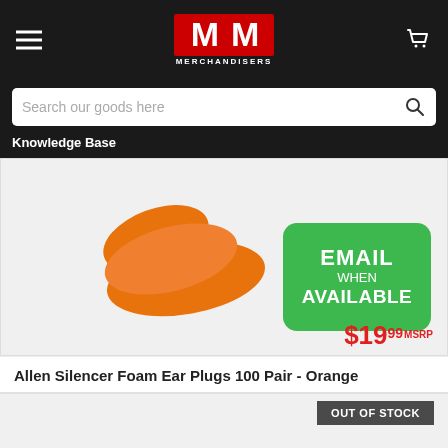[Figure (logo): M&M Merchandisers logo in red and white on dark background header with hamburger menu and cart icon]
Search our goods here
Knowledge Base
[Figure (photo): Orange foam ear plugs product photo showing two elongated cylindrical orange foam ear plugs against light background. A green rounded rectangle badge reads EMAIL WHEN AVAILABLE. Price shown as $19.99 MSRP.]
Allen Silencer Foam Ear Plugs 100 Pair - Orange
OUT OF STOCK